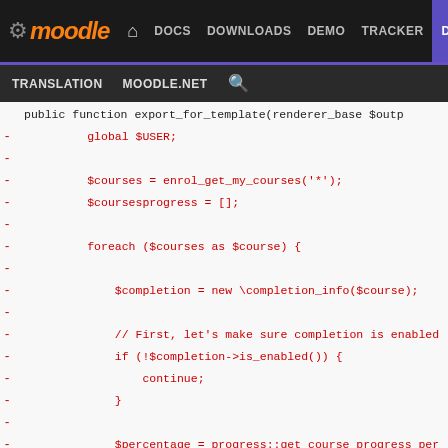moodle | DOCS | DOWNLOADS | DEMO | TRACKER | DEV
TRANSLATION | MOODLE.NET | Search
[Figure (screenshot): Moodle developer site navigation bar with logo, top nav links (DOCS, DOWNLOADS, DEMO, TRACKER, DEV highlighted in purple), and secondary nav (TRANSLATION, MOODLE.NET, search icon)]
public function export_for_template(renderer_base $outp
-        global $USER;
-
-        $courses = enrol_get_my_courses('*');
-        $coursesprogress = [];
-
-        foreach ($courses as $course) {
-
-            $completion = new \completion_info($course);
-
-            // First, let's make sure completion is enabled
-            if (!$completion->is_enabled()) {
-                continue;
-            }
-
-            $percentage = progress::get_course_progress_per
-            if (!is_null($percentage)) {
-                $percentage = floor($percentage);
-            }
-
-            $coursesprogress[$course->id]['completed'] = $c
-            $coursesprogress[$course->id]['progress'] = $pe
-        }
-
-        $coursesview = new courses_view($courses, $coursesp
        $nocoursesurl = $output->image_url('courses', 'bloc